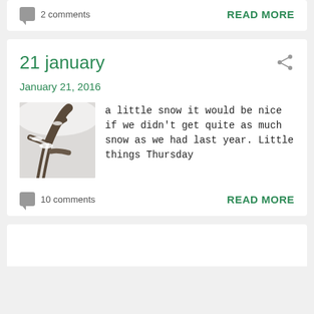2 comments
READ MORE
21 january
January 21, 2016
[Figure (photo): Snow-covered twisted branches or driftwood, close-up photo]
a little snow it would be nice if we didn't get quite as much snow as we had last year. Little things Thursday
10 comments
READ MORE